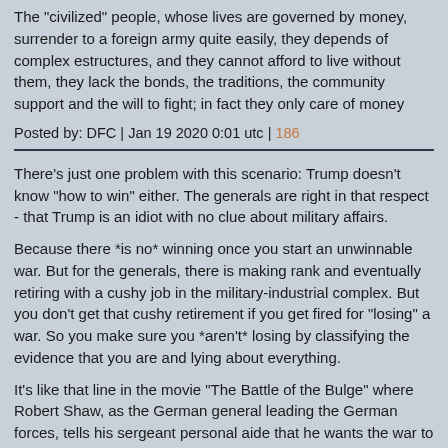The "civilized" people, whose lives are governed by money, surrender to a foreign army quite easily, they depends of complex estructures, and they cannot afford to live without them, they lack the bonds, the traditions, the community support and the will to fight; in fact they only care of money
Posted by: DFC | Jan 19 2020 0:01 utc | 186
There's just one problem with this scenario: Trump doesn't know "how to win" either. The generals are right in that respect - that Trump is an idiot with no clue about military affairs.
Because there *is no* winning once you start an unwinnable war. But for the generals, there is making rank and eventually retiring with a cushy job in the military-industrial complex. But you don't get that cushy retirement if you get fired for "losing" a war. So you make sure you *aren't* losing by classifying the evidence that you are and lying about everything.
It's like that line in the movie "The Battle of the Bulge" where Robert Shaw, as the German general leading the German forces, tells his sergeant personal aide that he wants the war to go on, and on, and on.
So, bottom line: The generals *and* Trump demonstrate how the US can't *win* anything any more. They can just